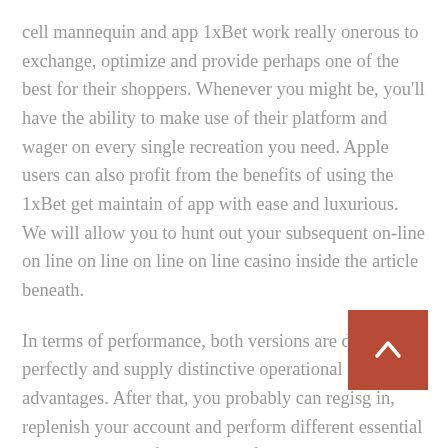cell mannequin and app 1xBet work really onerous to exchange, optimize and provide perhaps one of the best for their shoppers. Whenever you might be, you'll have the ability to make use of their platform and wager on every single recreation you need. Apple users can also profit from the benefits of using the 1xBet get maintain of app with ease and luxurious. We will allow you to hunt out your subsequent on-line on line on line on line on line casino inside the article beneath.
In terms of performance, both versions are designed perfectly and supply distinctive operational advantages. After that, you probably can regis... in, replenish your account and perform different essential tasks. During the first review of the 1xBet